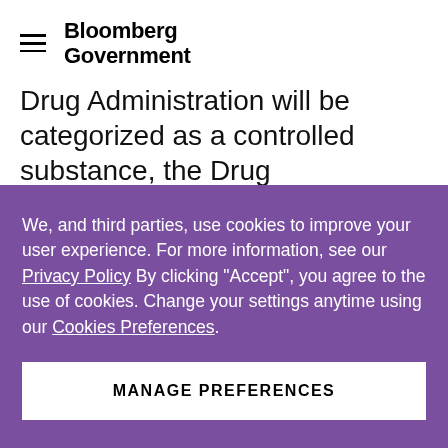Bloomberg Government
Drug Administration will be categorized as a controlled substance, the Drug Enforcement Administration announced Tuesday. The general public will have the
We, and third parties, use cookies to improve your user experience. For more information, see our Privacy Policy By clicking "Accept", you agree to the use of cookies. Change your settings anytime using our Cookies Preferences.